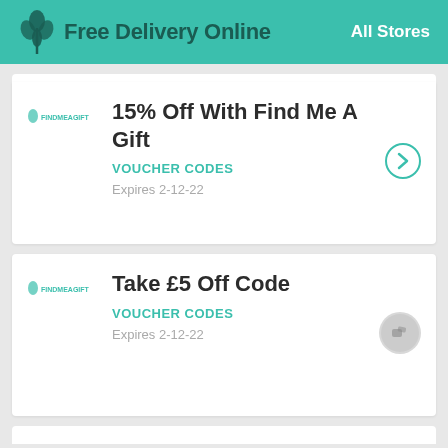Free Delivery Online  All Stores
15% Off With Find Me A Gift
VOUCHER CODES
Expires 2-12-22
Take £5 Off Code
VOUCHER CODES
Expires 2-12-22